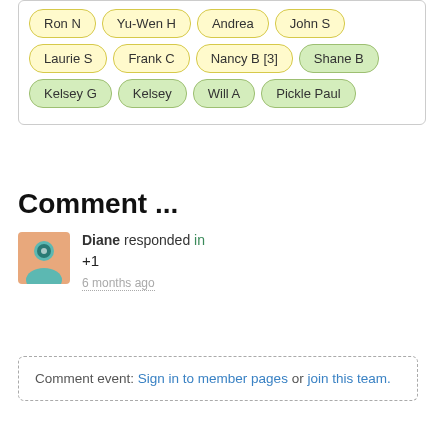Ron N, Yu-Wen H, Andrea, John S, Laurie S, Frank C, Nancy B [3], Shane B, Kelsey G, Kelsey, Will A, Pickle Paul
Comment ...
Diane responded in
+1
6 months ago
Comment event: Sign in to member pages or join this team.